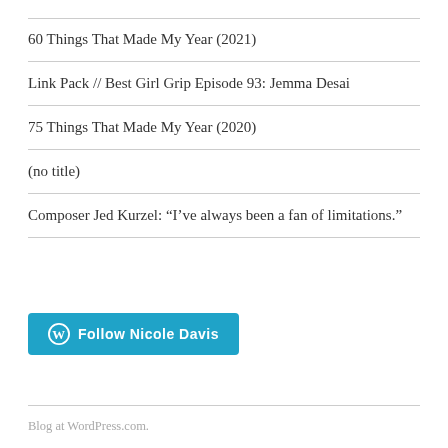60 Things That Made My Year (2021)
Link Pack // Best Girl Grip Episode 93: Jemma Desai
75 Things That Made My Year (2020)
(no title)
Composer Jed Kurzel: “I’ve always been a fan of limitations.”
[Figure (other): Follow Nicole Davis button with WordPress logo icon, blue rounded rectangle button]
Blog at WordPress.com.